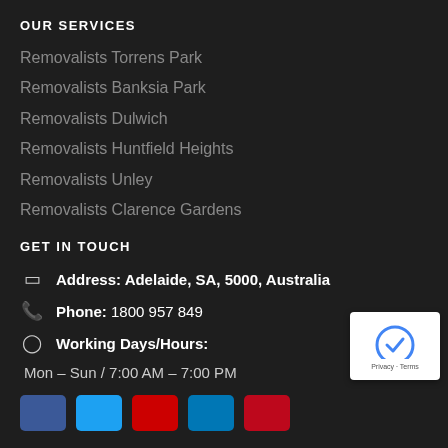OUR SERVICES
Removalists Torrens Park
Removalists Banksia Park
Removalists Dulwich
Removalists Huntfield Heights
Removalists Unley
Removalists Clarence Gardens
GET IN TOUCH
Address: Adelaide, SA, 5000, Australia
Phone: 1800 957 849
Working Days/Hours: Mon – Sun / 7:00 AM – 7:00 PM